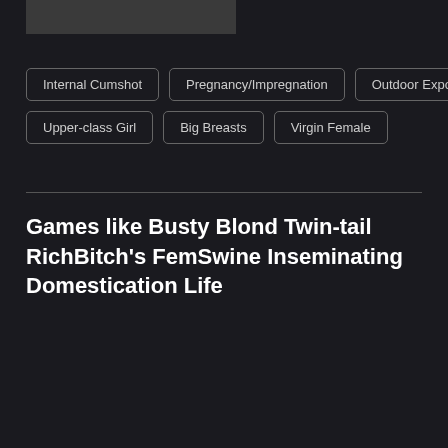[Figure (other): Dark gray rectangular image placeholder at top left]
Internal Cumshot
Pregnancy/Impregnation
Outdoor Exposure
Upper-class Girl
Big Breasts
Virgin Female
Games like Busty Blond Twin-tail RichBitch's FemSwine Inseminating Domestication Life